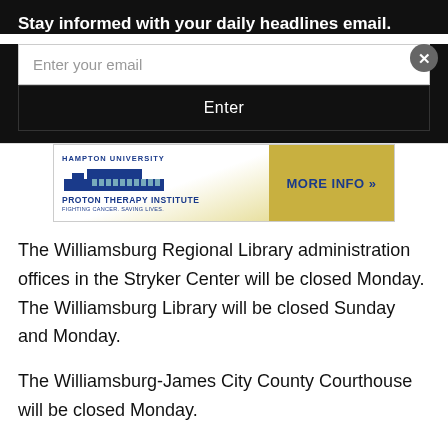Stay informed with your daily headlines email.
[Figure (screenshot): Email subscription form with text input field labeled 'Enter your email' and a black 'Enter' button. A circular close button appears in the top-right corner.]
[Figure (photo): Hampton University Proton Therapy Institute advertisement banner with building illustration on the left and 'MORE INFO »' button on the right.]
The Williamsburg Regional Library administration offices in the Stryker Center will be closed Monday. The Williamsburg Library will be closed Sunday and Monday.
The Williamsburg-James City County Courthouse will be closed Monday.